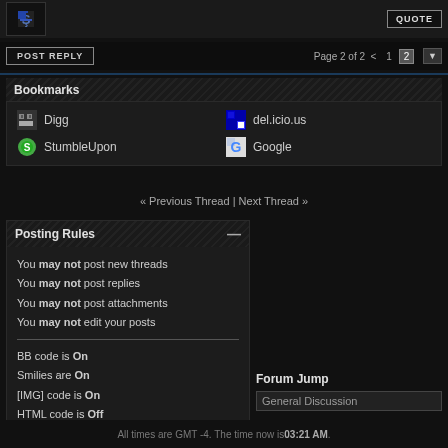[Figure (screenshot): Forum avatar icon (dark background with letter V)]
QUOTE
POST REPLY
Page 2 of 2 < 1 2
Bookmarks
Digg
del.icio.us
StumbleUpon
Google
« Previous Thread | Next Thread »
Posting Rules
You may not post new threads
You may not post replies
You may not post attachments
You may not edit your posts
BB code is On
Smilies are On
[IMG] code is On
HTML code is Off
Forum Rules
Forum Jump
General Discussion
All times are GMT -4. The time now is 03:21 AM.